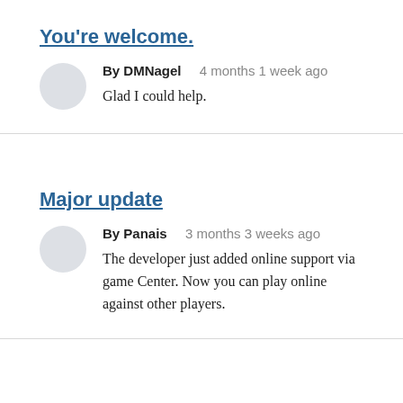You're welcome.
By DMNagel   4 months 1 week ago
Glad I could help.
Major update
By Panais   3 months 3 weeks ago
The developer just added online support via game Center. Now you can play online against other players.